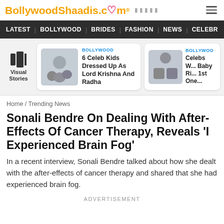BollywoodShaadis.com
LATEST | BOLLYWOOD | BRIDES | FASHION | NEWS | CELEBR
[Figure (screenshot): Visual Stories section with two story cards: '6 Celeb Kids Dressed Up As Lord Krishna And Radha' and 'Celebs W... Baby Ri... 1st One...' both tagged BOLLYWOOD]
Home / Trending News
Sonali Bendre On Dealing With After-Effects Of Cancer Therapy, Reveals 'I Experienced Brain Fog'
In a recent interview, Sonali Bendre talked about how she dealt with the after-effects of cancer therapy and shared that she had experienced brain fog.
ADVERTISEMENT